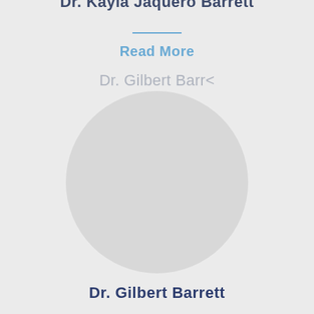Dr. Kayla Jaquero Barrett
Read More
Dr. Gilbert Barrett
[Figure (photo): Circular profile photo placeholder for Dr. Gilbert Barrett, shown as a large circle with grey background]
Dr. Gilbert Barrett
Read More
... Lizanne Holic